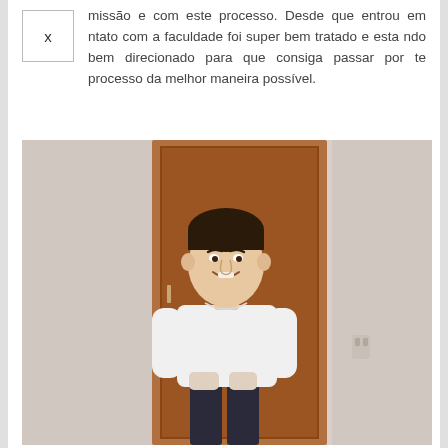missão e com este processo. Desde que entrou em ntato com a faculdade foi super bem tratado e esta ndo bem direcionado para que consiga passar por te processo da melhor maneira possível.
[Figure (photo): A smiling young man in a white t-shirt and dark pants standing in front of a wooden door in a white room.]